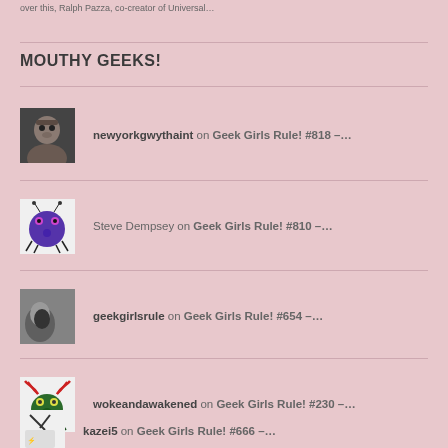over this, Ralph Pazza, co-creator of Universal...
MOUTHY GEEKS!
newyorkgwythaint on Geek Girls Rule! #818 –…
Steve Dempsey on Geek Girls Rule! #810 –…
geekgirlsrule on Geek Girls Rule! #654 –…
wokeandawakened on Geek Girls Rule! #230 –…
kazei5 on Geek Girls Rule! #666 –…